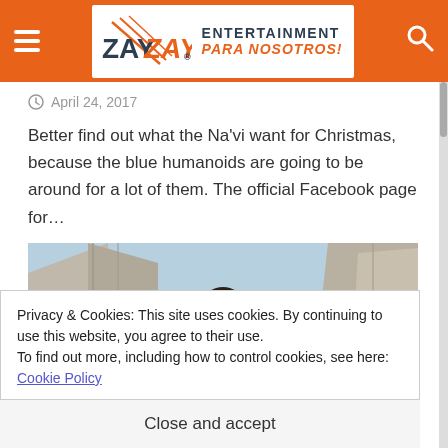ZayZay Entertainment Para Nosotros!
April 24, 2017
Better find out what the Na'vi want for Christmas, because the blue humanoids are going to be around for a lot of them. The official Facebook page for…
[Figure (photo): A woman looking upward outdoors with large concrete or stone structures around her, viewed from a low angle against a blue sky.]
Privacy & Cookies: This site uses cookies. By continuing to use this website, you agree to their use.
To find out more, including how to control cookies, see here: Cookie Policy
Close and accept
LATEST NEWS MOVIES